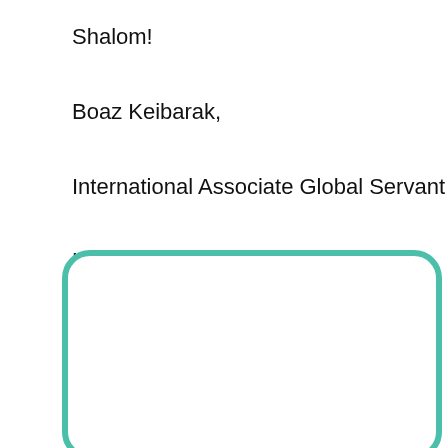Shalom!
Boaz Keibarak,
International Associate Global Servant
Kenya
[Figure (other): A teal/green rounded rectangle border box, open interior, partially visible at bottom of page.]